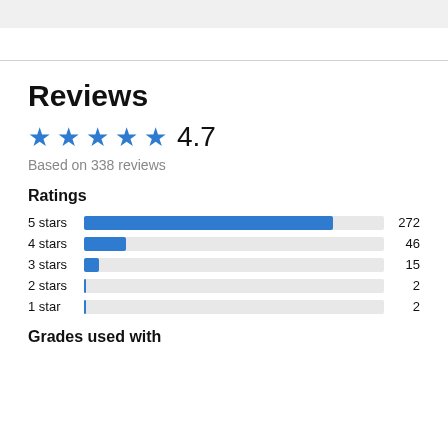Reviews
[Figure (other): Star rating display showing 4 blue stars and one partial star with rating 4.7]
Based on 338 reviews
Ratings
[Figure (bar-chart): Ratings distribution]
Grades used with